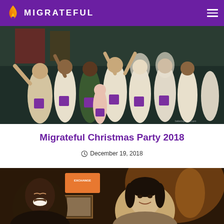MIGRATEFUL
[Figure (photo): Group photo of many people in white Migrateful aprons with arms raised, celebrating at a Christmas party event. Dark background with festive decorations.]
Migrateful Christmas Party 2018
December 19, 2018
[Figure (photo): Close-up photo of two people smiling and laughing at the Christmas party event. One person is Black with a joyful expression, another is an Asian woman smiling. Warm ambient lighting in background.]